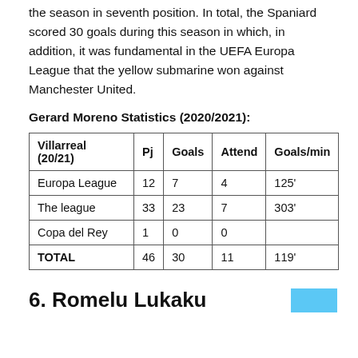the season in seventh position. In total, the Spaniard scored 30 goals during this season in which, in addition, it was fundamental in the UEFA Europa League that the yellow submarine won against Manchester United.
Gerard Moreno Statistics (2020/2021):
| Villarreal (20/21) | Pj | Goals | Attend | Goals/min |
| --- | --- | --- | --- | --- |
| Europa League | 12 | 7 | 4 | 125' |
| The league | 33 | 23 | 7 | 303' |
| Copa del Rey | 1 | 0 | 0 |  |
| TOTAL | 46 | 30 | 11 | 119' |
6. Romelu Lukaku